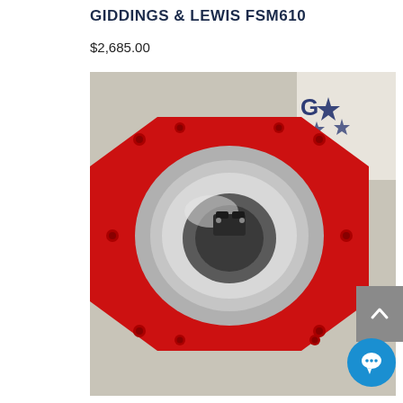GIDDINGS & LEWIS FSM610
$2,685.00
[Figure (photo): Photograph of a Giddings & Lewis FSM610 spindle motor component — a red octagonal machined metal plate with a central silver/chrome circular bowl and a small black connector mounted in the center. Multiple bolt holes visible around the perimeter. Partial company logo (General Spindle M...) visible in the upper right of the photo background.]